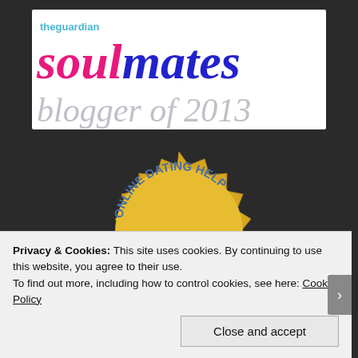[Figure (logo): The Guardian Soulmates blogger of 2013 logo — white background with 'theguardian' in teal, 'soul' in pink italic serif and 'mates' in blue italic serif in large text, and 'blogger of 2013' in light grey italic serif below]
[Figure (illustration): Gold starburst badge with text 'ONLINE DATING HELP' and '2014' with two cartoon bird characters]
Privacy & Cookies: This site uses cookies. By continuing to use this website, you agree to their use.
To find out more, including how to control cookies, see here: Cookie Policy
Close and accept